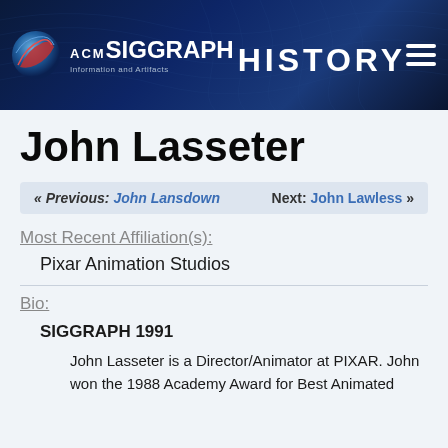ACM SIGGRAPH Information and Artifacts HISTORY
John Lasseter
« Previous: John Lansdown   Next: John Lawless »
Most Recent Affiliation(s):
Pixar Animation Studios
Bio:
SIGGRAPH 1991
John Lasseter is a Director/Animator at PIXAR. John won the 1988 Academy Award for Best Animated